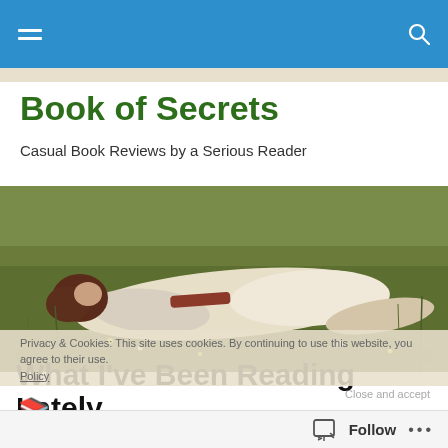Book of Secrets — navigation bar with hamburger menu and search icon
Book of Secrets
Casual Book Reviews by a Serious Reader
[Figure (photo): Pre-Raphaelite style painting of a woman in a white dress lying in a meadow of tall grass and wildflowers]
Privacy & Cookies: This site uses cookies. By continuing to use this website, you agree to their use. Policy
What I've Been Reading Lately
Follow •••